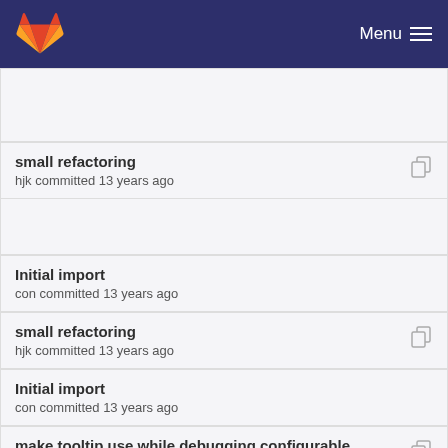GitLab — Menu
small refactoring
hjk committed 13 years ago
Initial import
con committed 13 years ago
small refactoring
hjk committed 13 years ago
Initial import
con committed 13 years ago
make tooltip use while debugging configurable
hjk committed 13 years ago